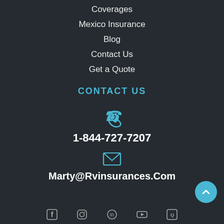Coverages
Mexico Insurance
Blog
Contact Us
Get a Quote
CONTACT US
[Figure (illustration): Phone handset icon in teal/cyan color]
1-844-727-7207
[Figure (illustration): Envelope/email icon in teal/cyan color]
Marty@Rvinsurances.Com
[Figure (illustration): Social media icons row at the bottom (Facebook, Instagram, and others partially visible)]